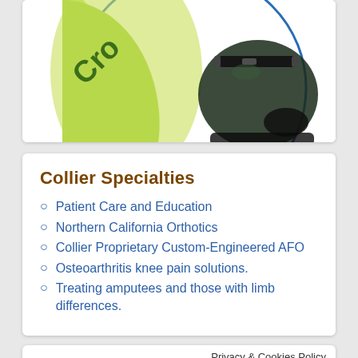[Figure (photo): Partial view of a circular logo/image showing 'Cro' text on a green background segment and a dark orthotic boot/shoe displayed inside a blue circle border]
Collier Specialties
Patient Care and Education
Northern California Orthotics
Collier Proprietary Custom-Engineered AFO
Osteoarthritis knee pain solutions.
Treating amputees and those with limb differences.
Privacy & Cookies Policy